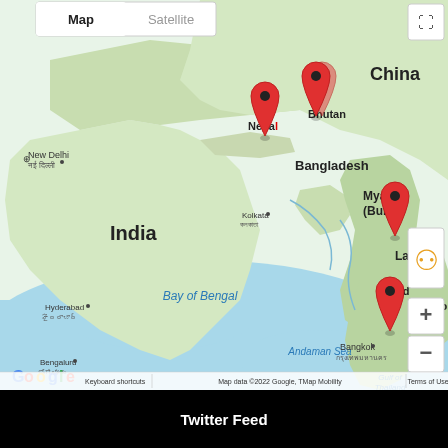[Figure (map): Google Maps screenshot showing South/Southeast Asia region with red location pins on Nepal, Bhutan, Myanmar (Burma), and Thailand. Map shows countries including China, India, Bangladesh, Laos, Cambodia. Cities labeled include New Delhi, Kolkata, Hyderabad, Bengaluru, Bangkok. Bodies of water include Bay of Bengal, Andaman Sea, Gulf of Thailand. Map controls visible: Map/Satellite toggle, fullscreen, street view person icon, zoom +/- buttons. Footer shows: Keyboard shortcuts | Map data ©2022 Google, TMap Mobility | Terms of Use]
Twitter Feed